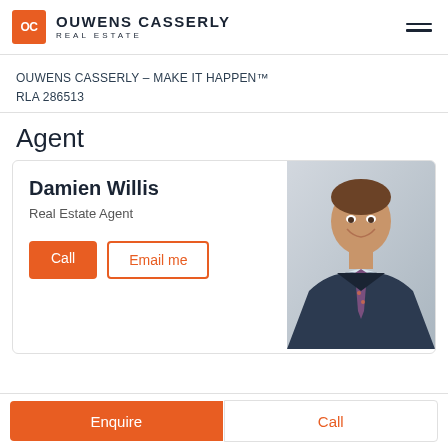OC OUWENS CASSERLY REAL ESTATE
OUWENS CASSERLY – MAKE IT HAPPEN™ RLA 286513
Agent
Damien Willis
Real Estate Agent
[Figure (photo): Headshot photo of Damien Willis, a man in a dark suit and patterned tie, smiling, against a grey background]
Enquire  Call